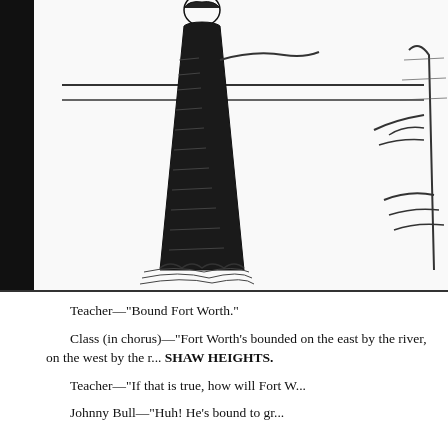[Figure (illustration): Newspaper comic/cartoon illustration. On the left, a tall woman in a long dark Victorian dress with elaborate hair stands facing right. On the right, a skeletal or thin figure partially visible. Two horizontal ruled lines span the upper middle area of the illustration. A thick black border runs along the left edge.]
Teacher—"Bound Fort Worth."
Class (in chorus)—"Fort Worth's bounded on the east by the river, on the west by the r... SHAW HEIGHTS.
Teacher—"If that is true, how will Fort W...
Johnny Bull—"Huh! He's bound to gr...